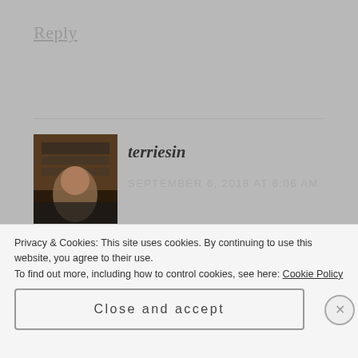Reply
terriesin
SEPTEMBER 6, 2018 AT 6:06 AM
Good luck!! This one does look really good! ❤
Privacy & Cookies: This site uses cookies. By continuing to use this website, you agree to their use.
To find out more, including how to control cookies, see here: Cookie Policy
Close and accept